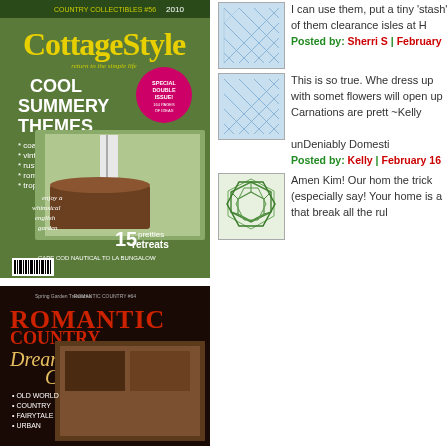[Figure (photo): Cottage Style magazine cover with 'Cool Summery Themes' headline, Special Double Issue, 15 pretties retreats]
[Figure (illustration): Blue geometric/mesh pattern avatar icon]
I can use them, put a tiny 'stash' of them clearance isles at H
Posted by: Sherri S | February
[Figure (illustration): Blue geometric/mesh pattern avatar icon]
This is so true. Whe dress up with somet flowers will open up Carnations are prett ~Kelly

unDeniably Domesti
Posted by: Kelly | February 16
[Figure (photo): Romantic Country magazine cover with Dream Cottages headline, Old World, Country, Fairytale, Urban]
[Figure (illustration): Green geometric/mosaic pattern avatar icon]
Amen Kim! Our hom the trick (especially say! Your home is a that break all the rul